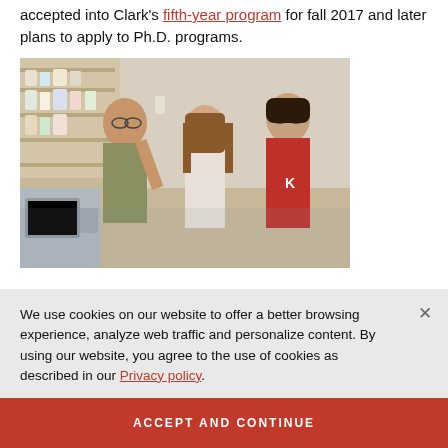accepted into Clark's fifth-year program for fall 2017 and later plans to apply to Ph.D. programs.
[Figure (photo): Three people in a laboratory setting — a bald man with glasses holding up a small container, a young woman with long brown hair, and a young man in a red shirt with glasses — looking at the container together. Lab shelves and equipment visible in background.]
We use cookies on our website to offer a better browsing experience, analyze web traffic and personalize content. By using our website, you agree to the use of cookies as described in our Privacy policy.